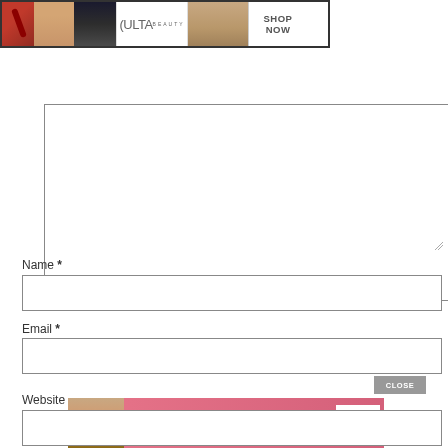[Figure (screenshot): Ulta Beauty advertisement banner with makeup photos, Ulta logo, and SHOP NOW button]
[Figure (screenshot): Comment textarea input field - empty white box]
Name *
[Figure (screenshot): Name text input field - empty white box]
Email *
[Figure (screenshot): Email text input field - empty white box]
Website
[Figure (screenshot): Victoria's Secret advertisement banner with CLOSE button and SHOP THE COLLECTION SHOP NOW]
[Figure (screenshot): Website text input field - partially visible]